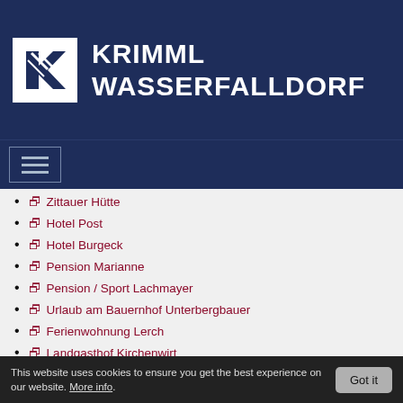[Figure (logo): Krimml Wasserfalldorf logo with stylized K icon in white box on dark blue background]
KRIMML WASSERFALLDORF
[Figure (other): Hamburger menu button with three horizontal bars]
Zittauer Hütte
Hotel Post
Hotel Burgeck
Pension Marianne
Pension / Sport Lachmayer
Urlaub am Bauernhof Unterbergbauer
Ferienwohnung Lerch
Landgasthof Kirchenwirt
Streetmission Autotattoos
Ferienwohnung Rabennest
Breitner Chalet Wasserfallblick
Ferienwohnung Hochkrimml 108/2
© 2022 die WerbeRaben
This website uses cookies to ensure you get the best experience on our website. More info.